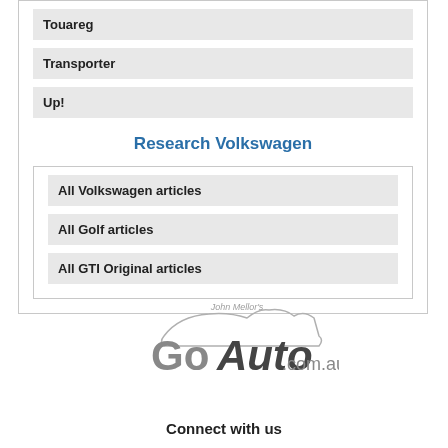Touareg
Transporter
Up!
Research Volkswagen
All Volkswagen articles
All Golf articles
All GTI Original articles
[Figure (logo): GoAuto.com.au logo with car silhouette and 'John Mellor's' text]
Connect with us